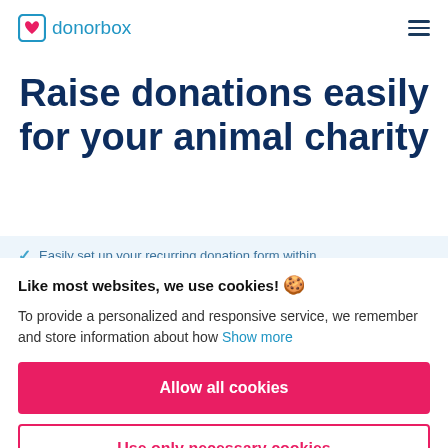donorbox
Raise donations easily for your animal charity
Easily set up your recurring donation form within
Like most websites, we use cookies! 🍪
To provide a personalized and responsive service, we remember and store information about how  Show more
Allow all cookies
Use only necessary cookies
More options ▾